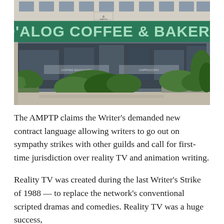[Figure (photo): Exterior photo of Dialog Coffee & Bakery storefront. The building has a large green-tinted sign reading 'DIALOG COFFEE & BAKERY' across the top of the shop front. The storefront has large glass windows revealing the interior. There are green bushes and planters in front of the shop. A small Dialog @ logo sign is visible at the top.]
The AMPTP claims the Writer's demanded new contract language allowing writers to go out on sympathy strikes with other guilds and call for first-time jurisdiction over reality TV and animation writing.
Reality TV was created during the last Writer's Strike of 1988 — to replace the network's conventional scripted dramas and comedies. Reality TV was a huge success,